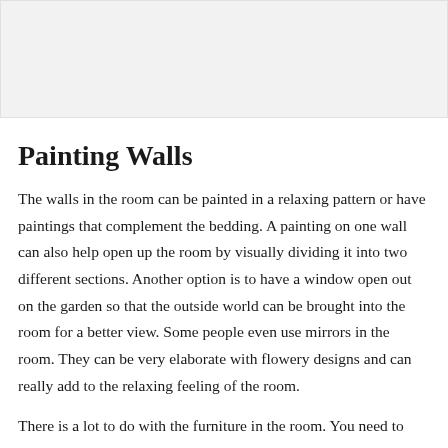[Figure (photo): Placeholder image area at top of page]
Painting Walls
The walls in the room can be painted in a relaxing pattern or have paintings that complement the bedding. A painting on one wall can also help open up the room by visually dividing it into two different sections. Another option is to have a window open out on the garden so that the outside world can be brought into the room for a better view. Some people even use mirrors in the room. They can be very elaborate with flowery designs and can really add to the relaxing feeling of the room.
There is a lot to do with the furniture in the room. You need to